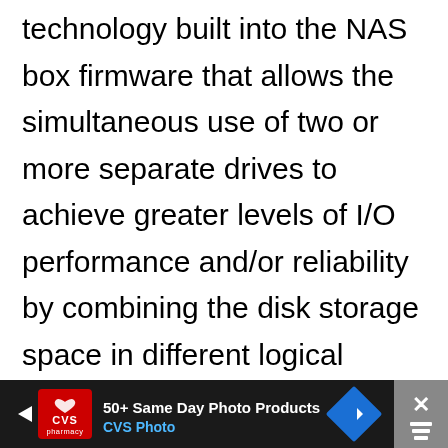technology built into the NAS box firmware that allows the simultaneous use of two or more separate drives to achieve greater levels of I/O performance and/or reliability by combining the disk storage space in different logical ways. When several physical disks are setup to use RAID technology, they are said to be in a RAID array. This array distributes data across several disks, but the array is
[Figure (other): CVS Pharmacy advertisement banner at the bottom of the screen with text '50+ Same Day Photo Products' and 'CVS Photo', showing CVS logo, navigation arrow diamond icon, and a close/dismiss button with bars icon]